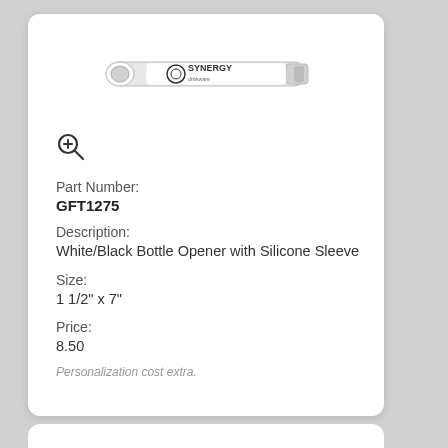[Figure (photo): A white/black bottle opener with silicone sleeve, branded with Synergy logo]
Part Number:
GFT1275
Description:
White/Black Bottle Opener with Silicone Sleeve
Size:
1 1/2" x 7"
Price:
8.50
Personalization cost extra.